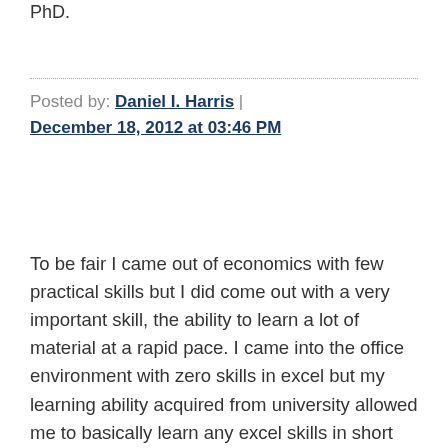PhD.
Posted by: Daniel I. Harris | December 18, 2012 at 03:46 PM
To be fair I came out of economics with few practical skills but I did come out with a very important skill, the ability to learn a lot of material at a rapid pace. I came into the office environment with zero skills in excel but my learning ability acquired from university allowed me to basically learn any excel skills in short notice that were required by the projects that my supervisor put